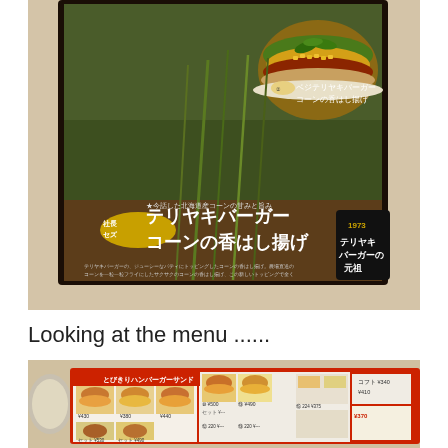[Figure (photo): A framed Japanese fast food advertisement poster (likely Lotteria or MOS Burger) showing a teriyaki burger with corn fritters. Text in Japanese reads: テリヤキバーガー コーンの香はし揚げ (Teriyaki Burger Corn Fragrant Fry). Also visible text: ベジテリヤキバーガー コーンの香はし揚げ, 1973 テリヤキバーガーの元祖. The poster is mounted on a beige/cream wall.]
Looking at the menu ......
[Figure (photo): A Japanese fast food restaurant menu board showing various burger options with photos and Japanese text prices. Items include sandwiches and burgers with prices like ¥340, ¥380, ¥440, ¥500, ¥490, ¥375, ¥410, ¥370. A red menu placard reads とびきりハンバーガーサンド.]